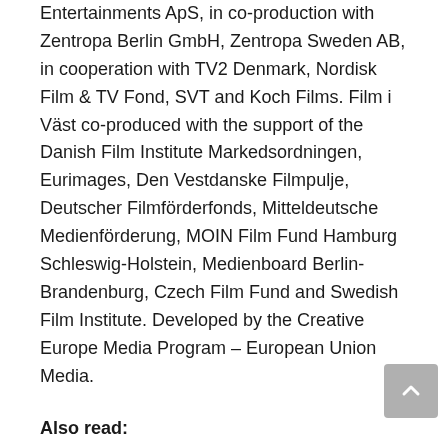Entertainments ApS, in co-production with Zentropa Berlin GmbH, Zentropa Sweden AB, in cooperation with TV2 Denmark, Nordisk Film & TV Fond, SVT and Koch Films. Film i Väst co-produced with the support of the Danish Film Institute Markedsordningen, Eurimages, Den Vestdanske Filmpulje, Deutscher Filmförderfonds, Mitteldeutsche Medienförderung, MOIN Film Fund Hamburg Schleswig-Holstein, Medienboard Berlin-Brandenburg, Czech Film Fund and Swedish Film Institute. Developed by the Creative Europe Media Program – European Union Media.
Also read:
Mads Mikkelsen Joins 'Indiana Jones 5' Cast in Undisclosed Role